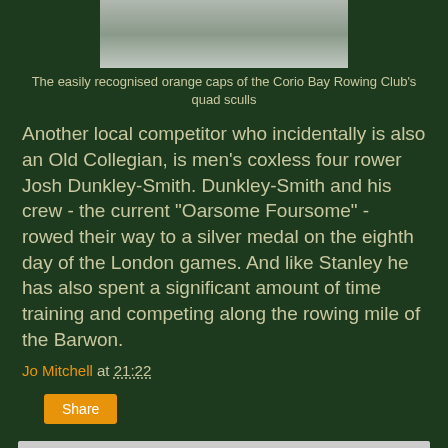[Figure (photo): Partial image of Corio Bay Rowing Club's quad sculls with orange caps, showing water surface]
The easily recognised orange caps of the Corio Bay Rowing Club's quad sculls
Another local competitor who incidentally is also an Old Collegian, is men's coxless four rower Josh Dunkley-Smith. Dunkley-Smith and his crew - the current "Oarsome Foursome" - rowed their way to a silver medal on the eighth day of the London games. And like Stanley he has also spent a significant amount of time training and competing along the rowing mile of the Barwon.
Jo Mitchell at 21:22
Share
No comments:
Post a Comment